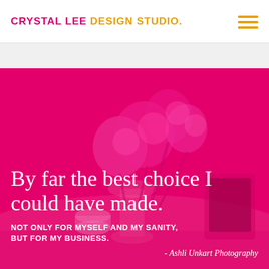CRYSTAL LEE DESIGN STUDIO.
[Figure (photo): Pink-tinted hero photo of roses in a vase on a desk with a tablet, overlaid with a deep magenta/pink color wash. White text overlay with quote.]
By far the best choice I could have made.
NOT ONLY FOR MYSELF AND MY SANITY, BUT FOR MY BUSINESS.
- Ashli Unkart Photography